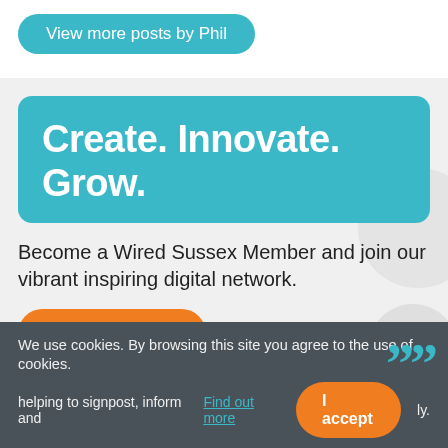View more posts by Phil
Create. Innovate. Grow.
Become a Wired Sussex Member and join our vibrant inspiring digital network.
Find out more
Wired Sussex is an invaluable resource for the digital community, helping to signpost, inform and champion businesses locally.
We use cookies. By browsing this site you agree to the use of cookies. Find out more  I accept